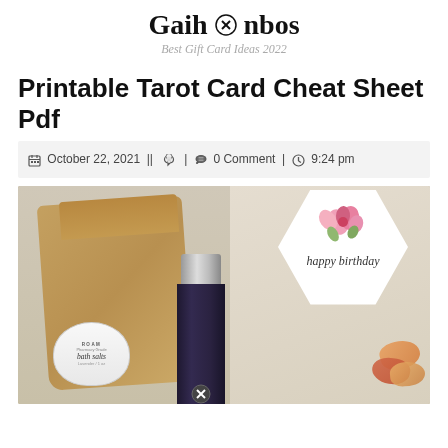Gaihonbos — Best Gift Card Ideas 2022
Printable Tarot Card Cheat Sheet Pdf
October 22, 2021 || [user icon] | [comment icon] 0 Comment | [clock icon] 9:24 pm
[Figure (photo): A flat lay gift box containing a kraft paper pouch, a white jar of ROAM bath salts (lavender, 1 oz), a dark glass bottle with chrome cap, a white hexagonal card with floral design reading 'happy birthday', and wrapped candies on a marble surface.]